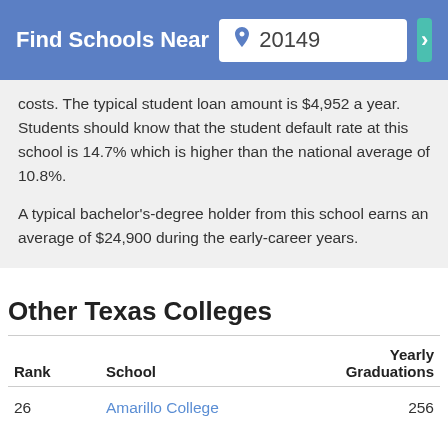Find Schools Near 20149
costs. The typical student loan amount is $4,952 a year. Students should know that the student default rate at this school is 14.7% which is higher than the national average of 10.8%.
A typical bachelor's-degree holder from this school earns an average of $24,900 during the early-career years.
Other Texas Colleges
| Rank | School | Yearly
Graduations |
| --- | --- | --- |
| 26 | Amarillo College | 256 |